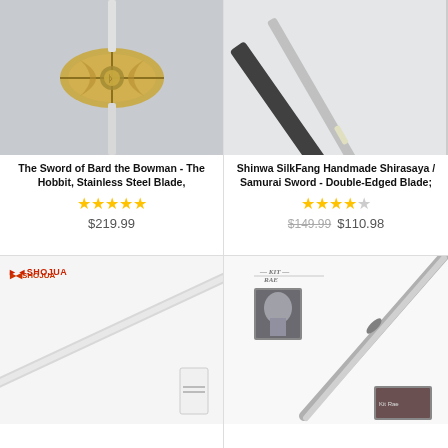[Figure (photo): The Sword of Bard the Bowman - The Hobbit, decorative sword with ornate hilt, stainless steel blade, product photo]
The Sword of Bard the Bowman - The Hobbit, Stainless Steel Blade,
★★★★★ $219.99
[Figure (photo): Shinwa SilkFang Handmade Shirasaya / Samurai Sword - Double-Edged Blade, product photo showing sword and scabbard]
Shinwa SilkFang Handmade Shirasaya / Samurai Sword - Double-Edged Blade;
★★★★☆ $149.99 $110.98
[Figure (photo): Shojua brand sword product image - long straight blade partial view]
[Figure (photo): Kit Rae brand sword product image - curved blade with portrait image]